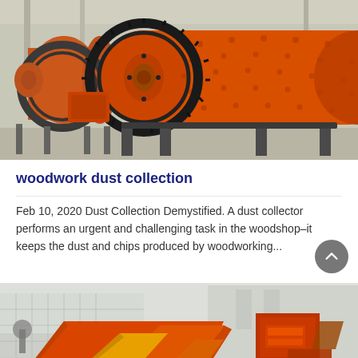[Figure (photo): Industrial orange ball mill grinding machines in a factory/warehouse setting, with large gears and cylindrical drum bodies on metal stands.]
woodwork dust collection
Feb 10, 2020 Dust Collection Demystified. A dust collector performs an urgent and challenging task in the woodshop–it keeps the dust and chips produced by woodworking...
[Figure (photo): Orange and yellow industrial vibrating screen/sieve machines displayed outdoors, with red and orange colored sheet metal equipment visible in a yard or exhibition area.]